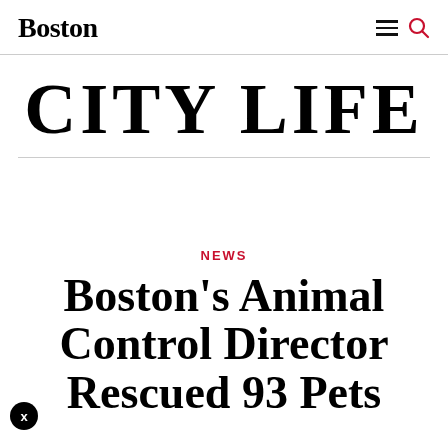Boston
CITY LIFE
NEWS
Boston's Animal Control Director Rescued 93 Pets